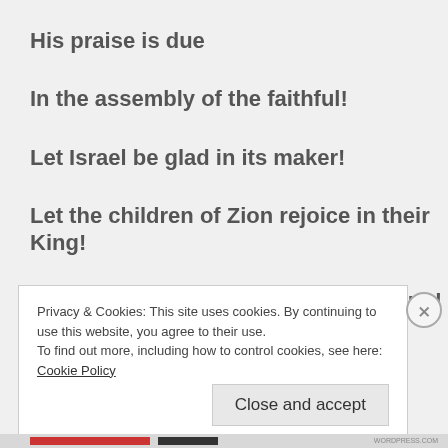His praise is due
In the assembly of the faithful!
Let Israel be glad in its maker!
Let the children of Zion rejoice in their King!
Let them praise his name with dancing!
Privacy & Cookies: This site uses cookies. By continuing to use this website, you agree to their use.
To find out more, including how to control cookies, see here: Cookie Policy
Close and accept